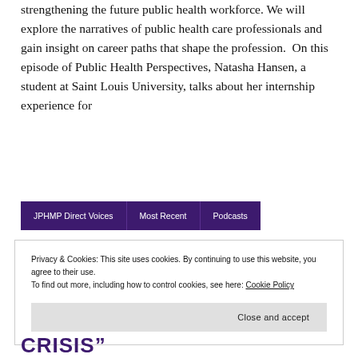strengthening the future public health workforce. We will explore the narratives of public health care professionals and gain insight on career paths that shape the profession. On this episode of Public Health Perspectives, Natasha Hansen, a student at Saint Louis University, talks about her internship experience for
READ MORE
JPHMP Direct Voices
Most Recent
Podcasts
Privacy & Cookies: This site uses cookies. By continuing to use this website, you agree to their use.
To find out more, including how to control cookies, see here: Cookie Policy
Close and accept
CRISIS"